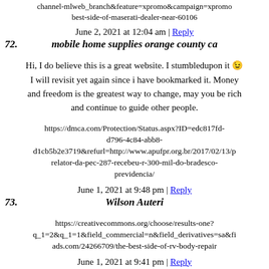channel-mlweb_branch&feature=xpromo&campaign=xpromo best-side-of-maserati-dealer-near-60106
June 2, 2021 at 12:04 am | Reply
72. mobile home supplies orange county ca
Hi, I do believe this is a great website. I stumbledupon it 😉 I will revisit yet again since i have bookmarked it. Money and freedom is the greatest way to change, may you be rich and continue to guide other people.
https://dmca.com/Protection/Status.aspx?ID=edc817fd-d796-4c84-abb8-d1cb5b2e3719&refurl=http://www.apufpr.org.br/2017/02/13/p relator-da-pec-287-recebeu-r-300-mil-do-bradesco-previdencia/
June 1, 2021 at 9:48 pm | Reply
73. Wilson Auteri
https://creativecommons.org/choose/results-one?q_1=2&q_1=1&field_commercial=n&field_derivatives=sa&fi ads.com/24266709/the-best-side-of-rv-body-repair
June 1, 2021 at 9:41 pm | Reply
74. motorhome repair near me